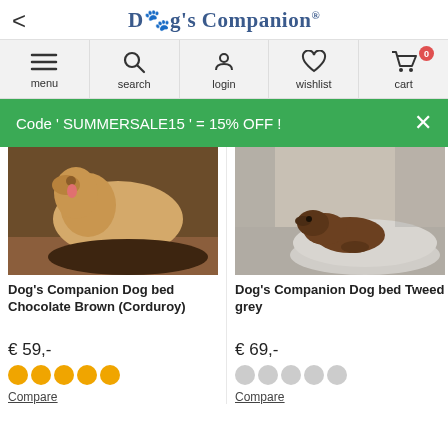Dog's Companion
[Figure (screenshot): Navigation bar with menu, search, login, wishlist, and cart (0) icons]
Code ' SUMMERSALE15 ' = 15% OFF !
[Figure (photo): Golden retriever lying on a dark brown corduroy dog bed]
Dog's Companion Dog bed Chocolate Brown (Corduroy)
€ 59,-
[Figure (other): 5 filled gold star rating circles]
Compare
[Figure (photo): Brown puppy resting on a light grey tweed dog bed]
Dog's Companion Dog bed Tweed grey
€ 69,-
[Figure (other): 5 empty grey star rating circles]
Compare